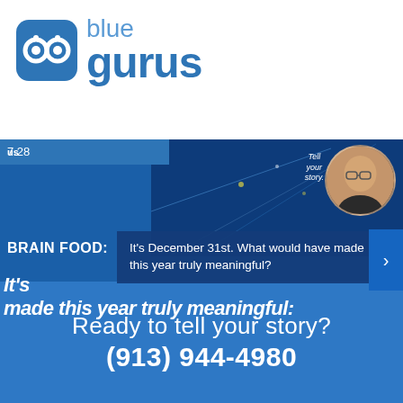[Figure (logo): Blue Gurus logo with stylized infinity/glasses icon and text 'blue gurus']
[Figure (screenshot): Screenshot of Blue Gurus website showing date 7.28, brain food section, 'It's December 31st. What would have made this year truly meaningful?' tooltip, and man's photo with 'tell your story.' text]
Ready to tell your story?
(913) 944-4980